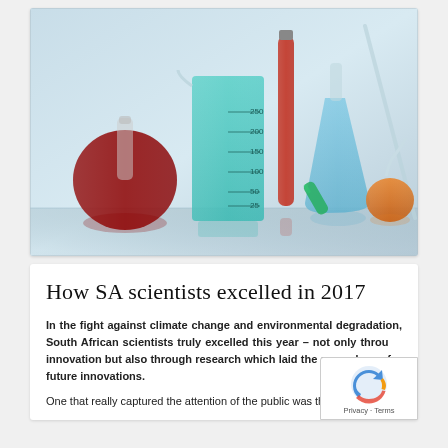[Figure (photo): Laboratory glassware including a round-bottom flask with dark red/brown liquid, a large graduated beaker with teal/green liquid marked at 250ml, 200ml, 150ml, 100ml, 50ml, 25ml, a tall red test tube, an Erlenmeyer flask with blue liquid, a small green vial tilted, a round-bottom flask with orange liquid, and a glass stirring rod, all on a reflective surface with a light blue gradient background.]
How SA scientists excelled in 2017
In the fight against climate change and environmental degradation, South African scientists truly excelled this year – not only through innovation but also through research which laid the groundwork for future innovations.
One that really captured the attention of the public was the 'liquid